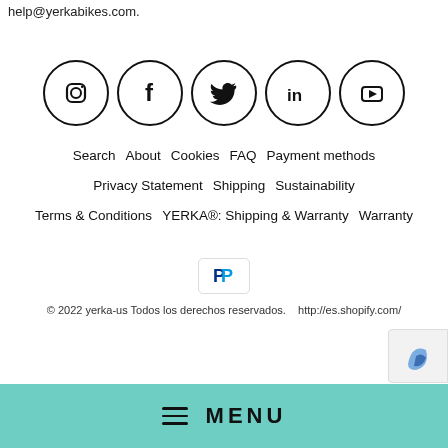help@yerkabikes.com.
[Figure (other): Five social media icons in circles: Instagram, Facebook, Twitter, LinkedIn, YouTube]
Search    About    Cookies    FAQ    Payment methods
Privacy Statement    Shipping    Sustainability
Terms & Conditions    YERKA®: Shipping & Warranty    Warranty
[Figure (logo): PayPal logo button]
© 2022 yerka-us Todos los derechos reservados.    http://es.shopify.com/
[Figure (other): reCAPTCHA badge (partial, bottom-right corner)]
≡ MENU